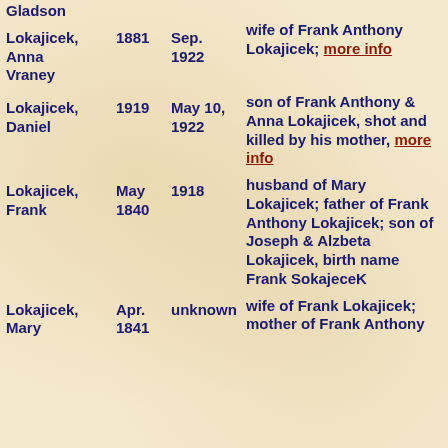| Name | Birth | Death | Notes |
| --- | --- | --- | --- |
| Gladson |  |  |  |
| Lokajicek, Anna Vraney | 1881 | Sep. 1922 | wife of Frank Anthony Lokajicek; more info |
| Lokajicek, Daniel | 1919 | May 10, 1922 | son of Frank Anthony & Anna Lokajicek, shot and killed by his mother, more info |
| Lokajicek, Frank | May 1840 | 1918 | husband of Mary Lokajicek; father of Frank Anthony Lokajicek; son of Joseph & Alzbeta Lokajicek, birth name Frank SokajeceK |
| Lokajicek, Mary | Apr. 1841 | unknown | wife of Frank Lokajicek; mother of Frank Anthony |